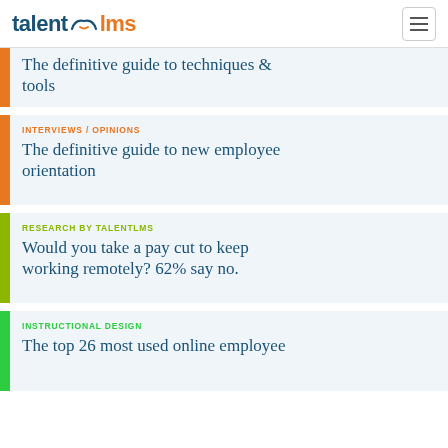talentlms
The definitive guide to techniques & tools
INTERVIEWS / OPINIONS
The definitive guide to new employee orientation
RESEARCH BY TALENTLMS
Would you take a pay cut to keep working remotely? 62% say no.
INSTRUCTIONAL DESIGN
The top 26 most used online employee